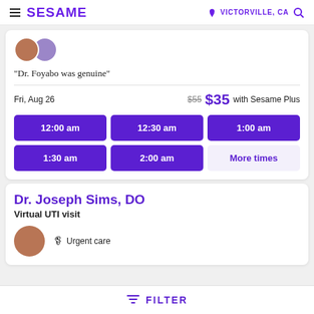SESAME — VICTORVILLE, CA
"Dr. Foyabo was genuine"
Fri, Aug 26  $55  $35 with Sesame Plus
12:00 am
12:30 am
1:00 am
1:30 am
2:00 am
More times
Dr. Joseph Sims, DO
Virtual UTI visit
Urgent care
FILTER